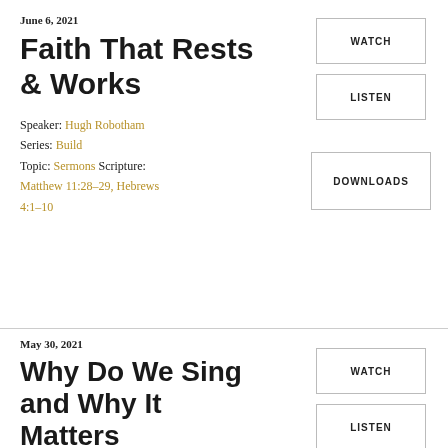June 6, 2021
Faith That Rests & Works
Speaker: Hugh Robotham
Series: Build
Topic: Sermons Scripture: Matthew 11:28–29, Hebrews 4:1–10
May 30, 2021
Why Do We Sing and Why It Matters